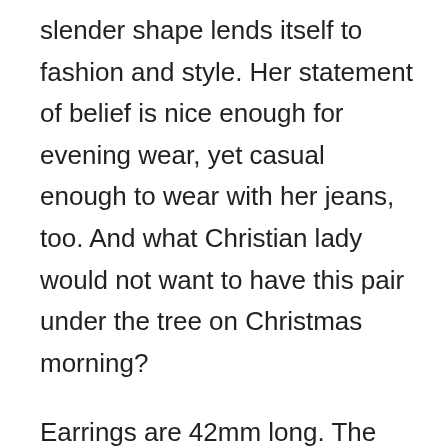slender shape lends itself to fashion and style. Her statement of belief is nice enough for evening wear, yet casual enough to wear with her jeans, too. And what Christian lady would not want to have this pair under the tree on Christmas morning?
Earrings are 42mm long. The cross measures 27mm x 14mm. Earrings weigh approx. 1.3 grams.
Apples of Gold offers a 45-day, no-questions-asked return policy, too, so you always know that your purchases are backed up with the greatest